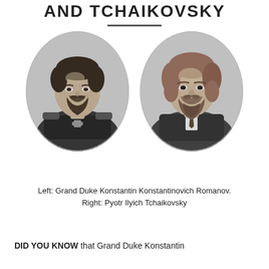AND TCHAIKOVSKY
[Figure (photo): Two oval black-and-white portrait photographs side by side. Left: Grand Duke Konstantin Konstantinovich Romanov in military uniform with a cross medal. Right: Pyotr Ilyich Tchaikovsky in a suit with a beard.]
Left: Grand Duke Konstantin Konstantinovich Romanov.
Right: Pyotr Ilyich Tchaikovsky
DID YOU KNOW that Grand Duke Konstantin